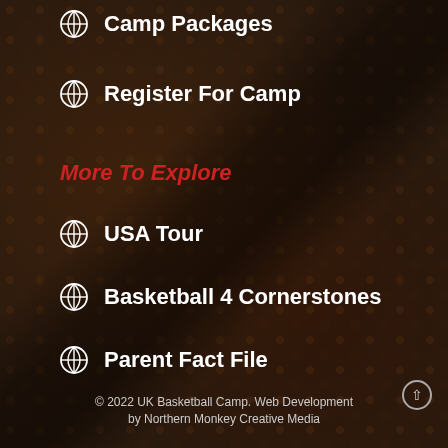Camp Packages
Register For Camp
More To Explore
USA Tour
Basketball 4 Cornerstones
Parent Fact File
Login To Your Account
© 2022 UK Basketball Camp. Web Development by Northern Monkey Creative Media